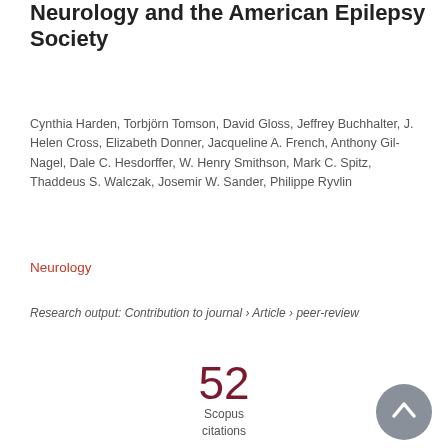Neurology and the American Epilepsy Society
Cynthia Harden, Torbjörn Tomson, David Gloss, Jeffrey Buchhalter, J. Helen Cross, Elizabeth Donner, Jacqueline A. French, Anthony Gil-Nagel, Dale C. Hesdorffer, W. Henry Smithson, Mark C. Spitz, Thaddeus S. Walczak, Josemir W. Sander, Philippe Ryvlin
Neurology
Research output: Contribution to journal › Article › peer-review
52 Scopus citations